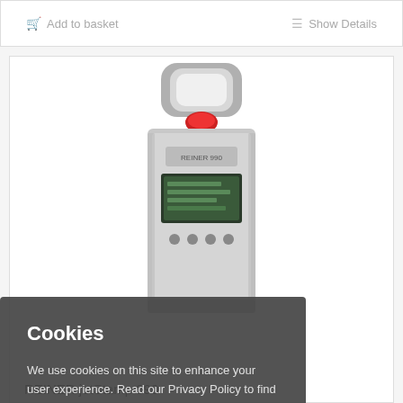Add to basket
Show Details
[Figure (photo): REINER jetStamp 990 handheld inkjet stamp device shown from above, silver/grey body with red button on top and LCD display screen in the middle]
REINER jetStamp 990
Cookies
We use cookies on this site to enhance your user experience. Read our Privacy Policy to find out more. Read now.
Okay, thank you